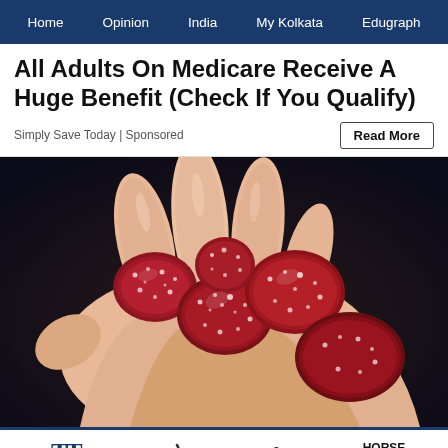Home | Opinion | India | My Kolkata | Edugraph
All Adults On Medicare Receive A Huge Benefit (Check If You Qualify)
Simply Save Today | Sponsored
[Figure (photo): A hand holding several dark red sugar-coated gummy candies against a dark background]
TT | my | edu | HORSE RACING